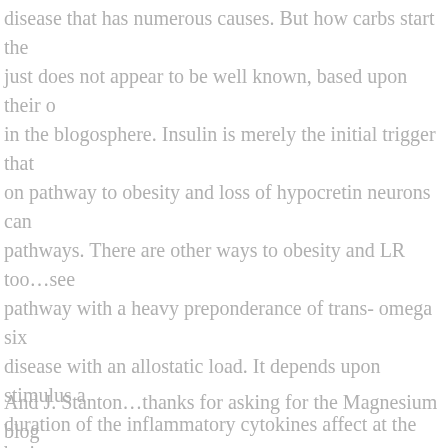disease that has numerous causes. But how carbs start the just does not appear to be well known, based upon their o in the blogosphere. Insulin is merely the initial trigger that on pathway to obesity and loss of hypocretin neurons can pathways. There are other ways to obesity and LR too…see pathway with a heavy preponderance of trans- omega six disease with an allostatic load. It depends upon stimulus a duration of the inflammatory cytokines affect at the brain sustain and colored by an emotional stressor the obesity i damage the hypothalamus. If it is due to heavy fructose a likely reversible with a leptin reset protocol. Each one of t different epigenetic switches and alters our genes. The re hormonal response to foods. This is why so many people n dietary macronutrients. The obesity epidemic spans the sp these two opposite positions and is why we see so many i that confuse the players. That is my view.
And J. Stanton…thanks for asking for the Magnesium blog